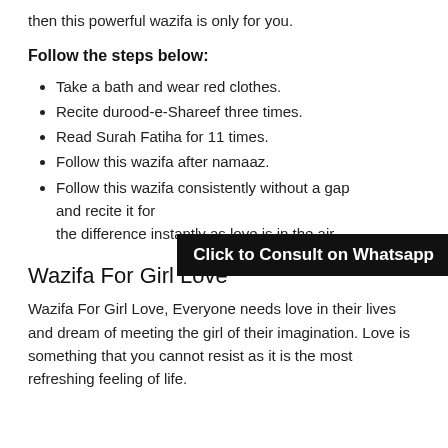then this powerful wazifa is only for you.
Follow the steps below:
Take a bath and wear red clothes.
Recite durood-e-Shareef three times.
Read Surah Fatiha for 11 times.
Follow this wazifa after namaaz.
Follow this wazifa consistently without a gap and recite it for the difference instantly as love is in the air.
[Figure (other): Black overlay button: Click to Consult on Whatsapp]
Wazifa For Girl Love
Wazifa For Girl Love, Everyone needs love in their lives and dream of meeting the girl of their imagination. Love is something that you cannot resist as it is the most refreshing feeling of life.